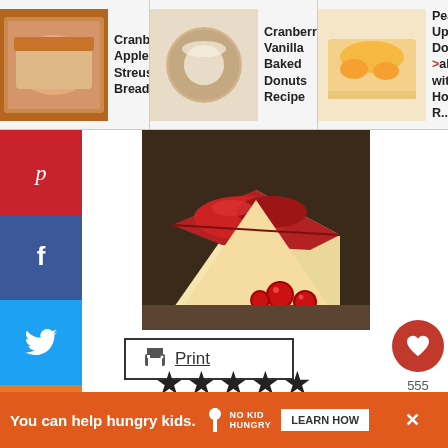Cranberry Apple Streusel Bread | Cranberry Vanilla Baked Donuts Recipe | Peach Upside-Down Cake with Hot R...
[Figure (photo): A slice of Cranberry Upside-Down Cake with red cranberry topping, showing yellow sponge interior, with fresh cranberries on the side on a dark background]
Print
5 from 1 vote
Cranberry Upside-Down Cake Recipe
Cranberry Upside-Down Cake is a tender... ...s a...
[Figure (screenshot): Ad banner: You can help hungry kids. No Kid Hungry. LEARN HOW]